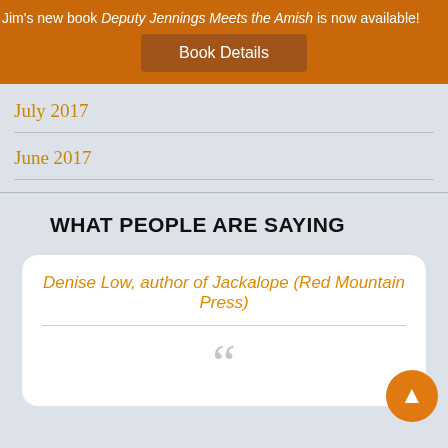Jim's new book Deputy Jennings Meets the Amish is now available!
Book Details
July 2017
June 2017
WHAT PEOPLE ARE SAYING
Denise Low, author of Jackalope (Red Mountain Press)
““